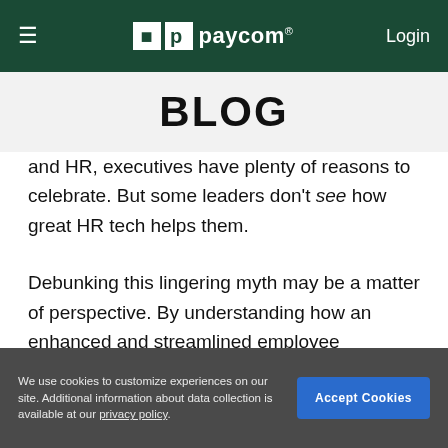≡  paycom® Login
BLOG
and HR, executives have plenty of reasons to celebrate. But some leaders don't see how great HR tech helps them.
Debunking this lingering myth may be a matter of perspective. By understanding how an enhanced and streamlined employee experience allows HR professionals to shift their focus, the edge it gives
We use cookies to customize experiences on our site. Additional information about data collection is available at our privacy policy.